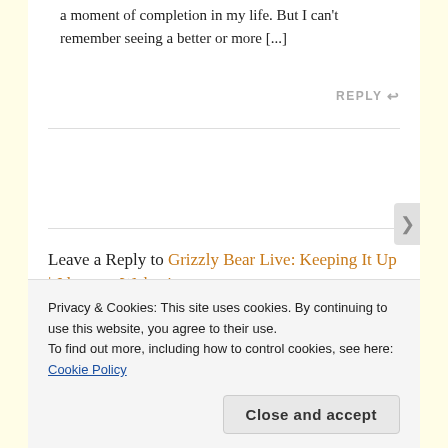a moment of completion in my life. But I can't remember seeing a better or more [...]
REPLY ↩
Leave a Reply to Grizzly Bear Live: Keeping It Up | Jdanspsa Wyksui    Cancel reply
Your email address will not be published.
Privacy & Cookies: This site uses cookies. By continuing to use this website, you agree to their use.
To find out more, including how to control cookies, see here: Cookie Policy
Close and accept